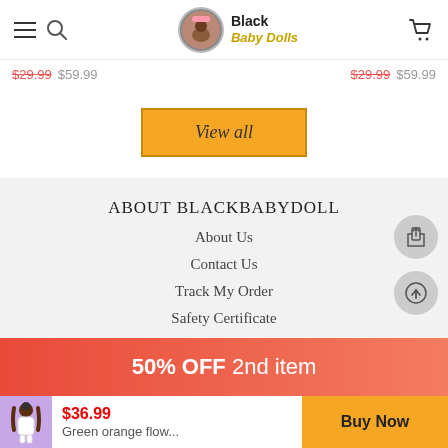Black Baby Dolls navigation header with hamburger menu, search icon, logo, and cart icon
$29.99  $59.99  $29.99  $59.99
View all
ABOUT BLACKBABYDOLL
About Us
Contact Us
Track My Order
Safety Certificate
Dolls Care
50% OFF 2nd item
$36.99
Green orange flow...
Buy Now